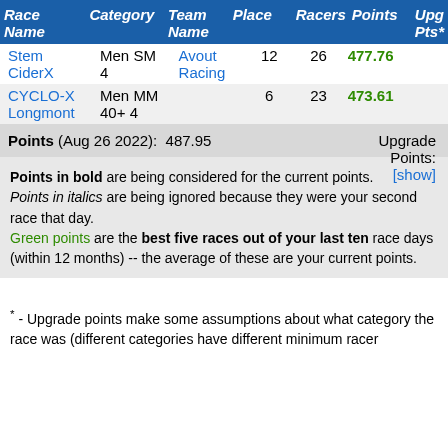| Race Name | Category | Team Name | Place | Racers | Points | Upg Pts* |
| --- | --- | --- | --- | --- | --- | --- |
| Stem CiderX | Men SM 4 | Avout Racing | 12 | 26 | 477.76 |  |
| CYCLO-X Longmont | Men MM 40+ 4 |  | 6 | 23 | 473.61 |  |
Points (Aug 26 2022): 487.95   Upgrade Points: [show]
Points in bold are being considered for the current points.
Points in italics are being ignored because they were your second race that day.
Green points are the best five races out of your last ten race days (within 12 months) -- the average of these are your current points.
* - Upgrade points make some assumptions about what category the race was (different categories have different minimum racer